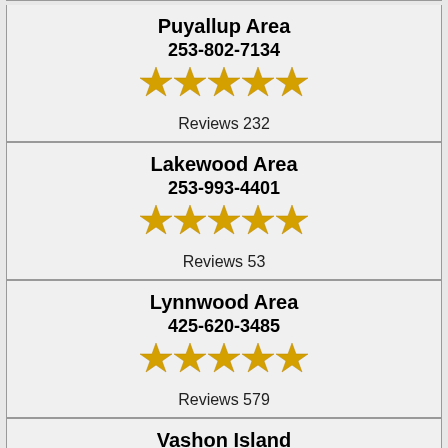Puyallup Area
253-802-7134
Reviews 232
Lakewood Area
253-993-4401
Reviews 53
Lynnwood Area
425-620-3485
Reviews 579
Vashon Island
206-823-1287